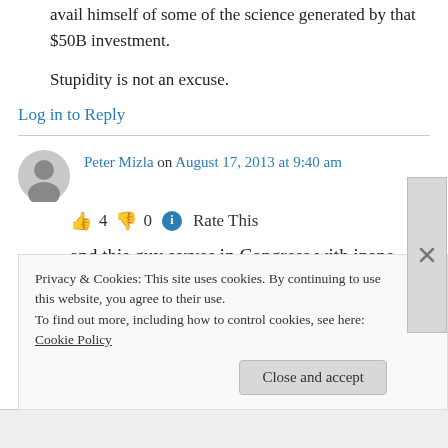avail himself of some of the science generated by that $50B investment.
Stupidity is not an excuse.
Log in to Reply
Peter Mizla on August 17, 2013 at 9:40 am
👍 4 👎 0 🔵 Rate This
and this guy serves in Congress with inane statements like this?
Privacy & Cookies: This site uses cookies. By continuing to use this website, you agree to their use.
To find out more, including how to control cookies, see here: Cookie Policy
Close and accept